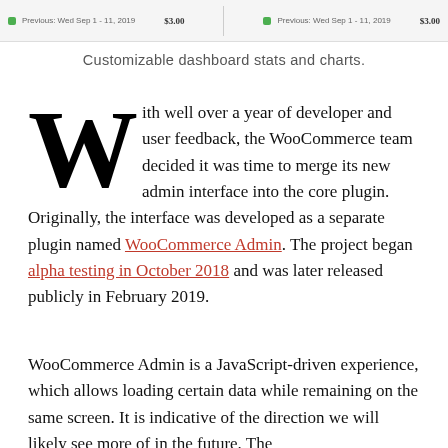[Figure (screenshot): Dashboard screenshot strip showing two chart previews with green indicators and values, with labels 'Previous: Wed Sep 1 - 11, 2019' and value '$3.00' on each side]
Customizable dashboard stats and charts.
With well over a year of developer and user feedback, the WooCommerce team decided it was time to merge its new admin interface into the core plugin. Originally, the interface was developed as a separate plugin named WooCommerce Admin. The project began alpha testing in October 2018 and was later released publicly in February 2019.
WooCommerce Admin is a JavaScript-driven experience, which allows loading certain data while remaining on the same screen. It is indicative of the direction we will likely see more of in the future. The